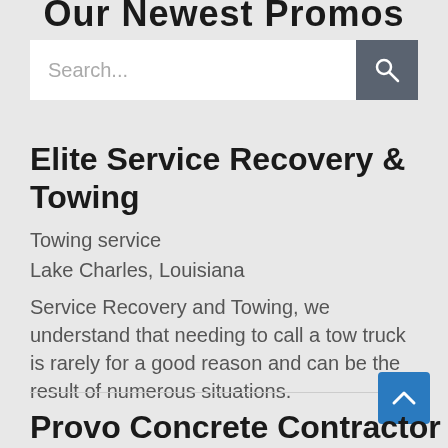Our Newest Promos
[Figure (screenshot): Search bar with text input showing placeholder 'Search...' and a dark grey search button with magnifying glass icon]
Elite Service Recovery & Towing
Towing service
Lake Charles, Louisiana
Service Recovery and Towing, we understand that needing to call a tow truck is rarely for a good reason and can be the result of numerous situations.
Provo Concrete Contractor